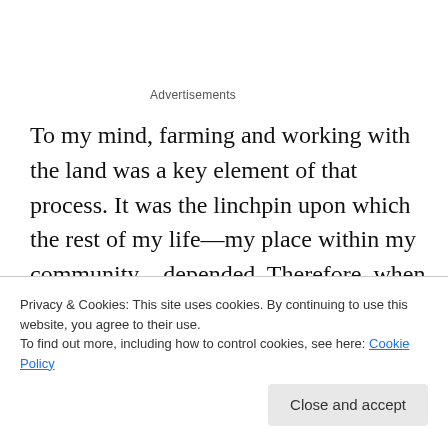Advertisements
To my mind, farming and working with the land was a key element of that process. It was the linchpin upon which the rest of my life—my place within my community—depended. Therefore, when I decided to pursue this new position in late 2014—this work that would take me away from the soil and from the growing and raising of food—it took me somewhat by surprise. And pursued the job and
Privacy & Cookies: This site uses cookies. By continuing to use this website, you agree to their use.
To find out more, including how to control cookies, see here: Cookie Policy
Close and accept